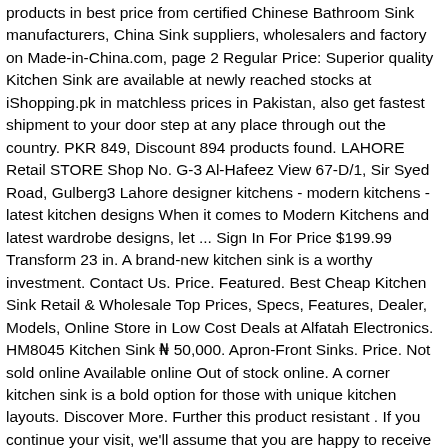products in best price from certified Chinese Bathroom Sink manufacturers, China Sink suppliers, wholesalers and factory on Made-in-China.com, page 2 Regular Price: Superior quality Kitchen Sink are available at newly reached stocks at iShopping.pk in matchless prices in Pakistan, also get fastest shipment to your door step at any place through out the country. PKR 849, Discount 894 products found. LAHORE Retail STORE Shop No. G-3 Al-Hafeez View 67-D/1, Sir Syed Road, Gulberg3 Lahore designer kitchens - modern kitchens - latest kitchen designs When it comes to Modern Kitchens and latest wardrobe designs, let ... Sign In For Price $199.99 Transform 23 in. A brand-new kitchen sink is a worthy investment. Contact Us. Price. Featured. Best Cheap Kitchen Sink Retail & Wholesale Top Prices, Specs, Features, Dealer, Models, Online Store in Low Cost Deals at Alfatah Electronics. HM8045 Kitchen Sink ₦ 50,000. Apron-Front Sinks. Price. Not sold online Available online Out of stock online. A corner kitchen sink is a bold option for those with unique kitchen layouts. Discover More. Further this product resistant . If you continue your visit, we'll assume that you are happy to receive all cookies. We are growing and have earned an excellent reputation with kitchen designers through hard work, good quality products and most of all the high level of service